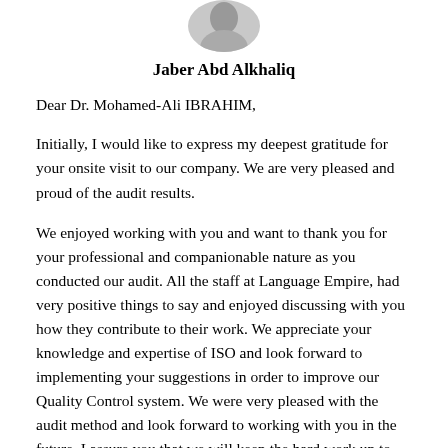[Figure (photo): Circular cropped portrait photo of Jaber Abd Alkhaliq]
Jaber Abd Alkhaliq
Dear Dr. Mohamed-Ali IBRAHIM,
Initially, I would like to express my deepest gratitude for your onsite visit to our company. We are very pleased and proud of the audit results.
We enjoyed working with you and want to thank you for your professional and companionable nature as you conducted our audit. All the staff at Language Empire, had very positive things to say and enjoyed discussing with you how they contribute to their work. We appreciate your knowledge and expertise of ISO and look forward to implementing your suggestions in order to improve our Quality Control system. We were very pleased with the audit method and look forward to working with you in the future. I assure you that we will keep the hard work up to